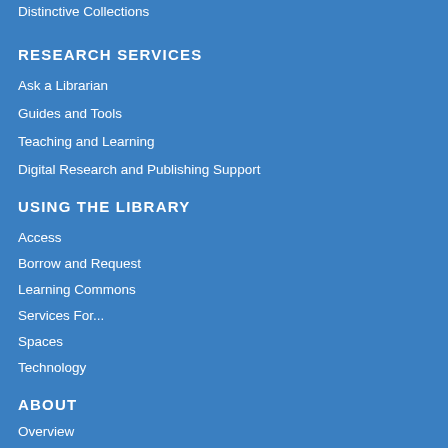Distinctive Collections
RESEARCH SERVICES
Ask a Librarian
Guides and Tools
Teaching and Learning
Digital Research and Publishing Support
USING THE LIBRARY
Access
Borrow and Request
Learning Commons
Services For...
Spaces
Technology
ABOUT
Overview
Library Organization
Events
Visit